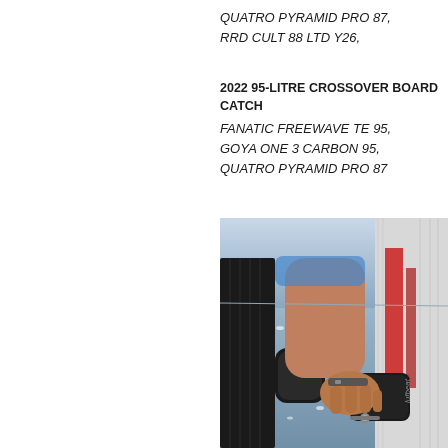QUATRO PYRAMID PRO 87,
RRD CULT 88 LTD Y26,
2022 95-LITRE CROSSOVER BOARD CATCH
FANATIC FREEWAVE TE 95,
GOYA ONE 3 CARBON 95,
QUATRO PYRAMID PRO 87
[Figure (photo): Close-up photo of a person's hand gripping a windsurf board footstrap (Lufbeat brand) on the water, with the board's carbon and red graphic visible, sparkling water in the background.]